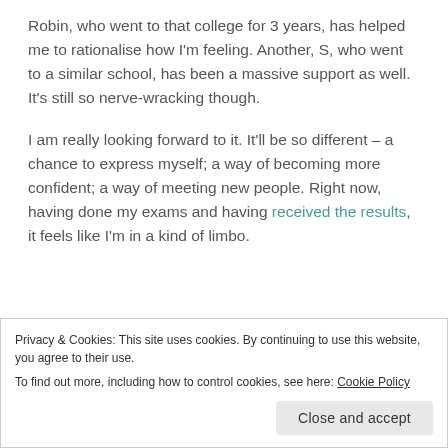Robin, who went to that college for 3 years, has helped me to rationalise how I'm feeling. Another, S, who went to a similar school, has been a massive support as well. It's still so nerve-wracking though.
I am really looking forward to it. It'll be so different – a chance to express myself; a way of becoming more confident; a way of meeting new people. Right now, having done my exams and having received the results, it feels like I'm in a kind of limbo.
It feels like I'm on the cusp of something but not quite at the point where I know where it is. It's
Privacy & Cookies: This site uses cookies. By continuing to use this website, you agree to their use.
To find out more, including how to control cookies, see here: Cookie Policy